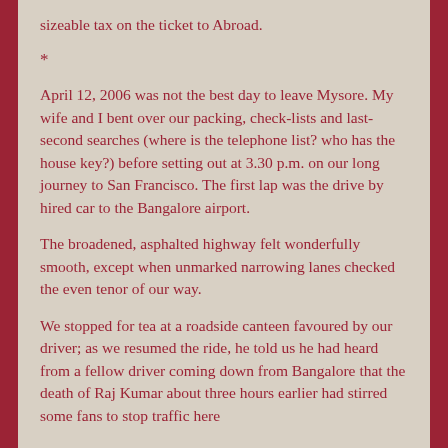sizeable tax on the ticket to Abroad.
*
April 12, 2006 was not the best day to leave Mysore. My wife and I bent over our packing, check-lists and last-second searches (where is the telephone list? who has the house key?) before setting out at 3.30 p.m. on our long journey to San Francisco. The first lap was the drive by hired car to the Bangalore airport.
The broadened, asphalted highway felt wonderfully smooth, except when unmarked narrowing lanes checked the even tenor of our way.
We stopped for tea at a roadside canteen favoured by our driver; as we resumed the ride, he told us he had heard from a fellow driver coming down from Bangalore that the death of Raj Kumar about three hours earlier had stirred some fans to stop traffic here